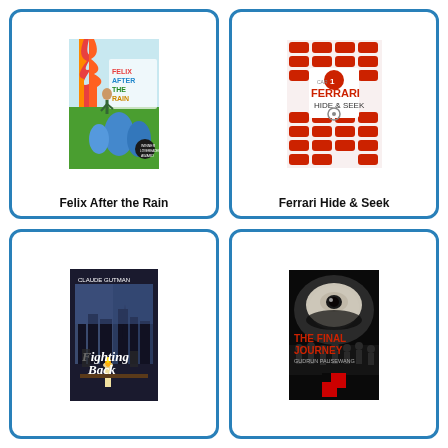[Figure (illustration): Book cover: Felix After the Rain - colorful illustration of a girl with flames, trees, blue leaves]
Felix After the Rain
[Figure (illustration): Book cover: Ferrari Hide & Seek - red Ferrari cars pattern on white background]
Ferrari Hide & Seek
[Figure (illustration): Book cover: Fighting Back by Claude Gutman - dark illustration of candlelit scene]
[Figure (illustration): Book cover: The Final Journey by Gudrun Pausewang - dark cover with eye and swastika symbol]